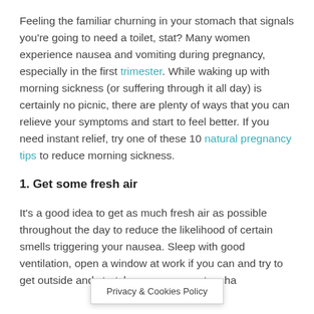Feeling the familiar churning in your stomach that signals you're going to need a toilet, stat? Many women experience nausea and vomiting during pregnancy, especially in the first trimester. While waking up with morning sickness (or suffering through it all day) is certainly no picnic, there are plenty of ways that you can relieve your symptoms and start to feel better. If you need instant relief, try one of these 10 natural pregnancy tips to reduce morning sickness.
1. Get some fresh air
It's a good idea to get as much fresh air as possible throughout the day to reduce the likelihood of certain smells triggering your nausea. Sleep with good ventilation, open a window at work if you can and try to get outside and stretch y... get a cha... Something will b...
Privacy & Cookies Policy